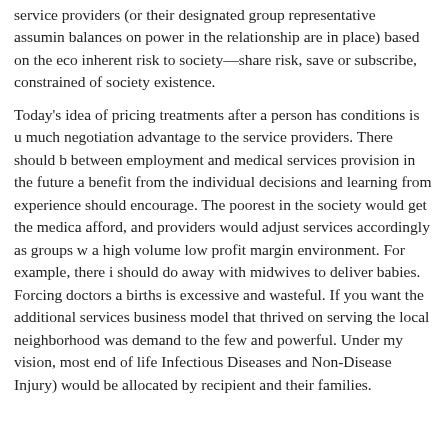The government would set up markets where individuals can compete with service providers (or their designated group representative assuming checks and balances on power in the relationship are in place) based on the economic and inherent risk to society—share risk, save or subscribe, constrained by the needs of society existence.
Today's idea of pricing treatments after a person has conditions is u... much negotiation advantage to the service providers. There should be a separation between employment and medical services provision in the future and society would benefit from the individual decisions and learning from experience, which competition should encourage. The poorest in the society would get the medical care they can afford, and providers would adjust services accordingly as groups would operate in a high volume low profit margin environment. For example, there is no reason we should do away with midwives to deliver babies. Forcing doctors and nurses to do births is excessive and wasteful. If you want the additional services, pay for it. The business model that thrived on serving the local neighborhood was destroyed by rent demand to the few and powerful. Under my vision, most end of life (excluding Infectious Diseases and Non-Disease Injury) would be allocated by the recipient and their families.